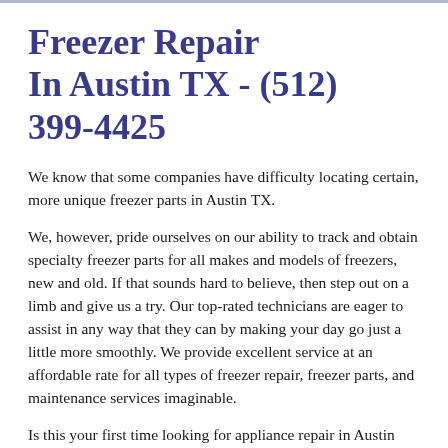Freezer Repair In Austin TX - (512) 399-4425
We know that some companies have difficulty locating certain, more unique freezer parts in Austin TX.
We, however, pride ourselves on our ability to track and obtain specialty freezer parts for all makes and models of freezers, new and old. If that sounds hard to believe, then step out on a limb and give us a try. Our top-rated technicians are eager to assist in any way that they can by making your day go just a little more smoothly. We provide excellent service at an affordable rate for all types of freezer repair, freezer parts, and maintenance services imaginable.
Is this your first time looking for appliance repair in Austin TX? If so, please get to qualified in a so from...